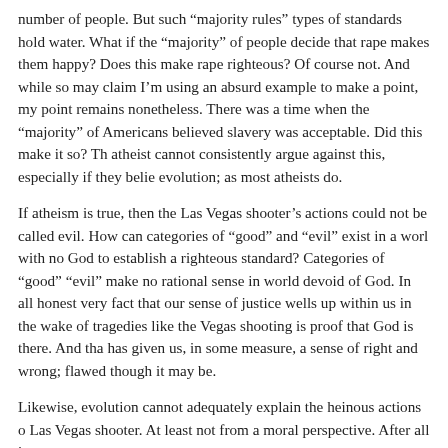number of people. But such “majority rules” types of standards hold water. What if the “majority” of people decide that rape makes them happy? Does this make rape righteous? Of course not. And while some may claim I’m using an absurd example to make a point, my point remains nonetheless. There was a time when the “majority” of Americans believed slavery was acceptable. Did this make it so? The atheist cannot consistently argue against this, especially if they believe in evolution; as most atheists do.
If atheism is true, then the Las Vegas shooter’s actions could not be called evil. How can categories of “good” and “evil” exist in a world with no God to establish a righteous standard? Categories of “good” and “evil” make no rational sense in world devoid of God. In all honesty, the very fact that our sense of justice wells up within us in the wake of tragedies like the Vegas shooting is proof that God is there. And that he has given us, in some measure, a sense of right and wrong; flawed though it may be.
Likewise, evolution cannot adequately explain the heinous actions of the Las Vegas shooter. At least not from a moral perspective. After all, if...